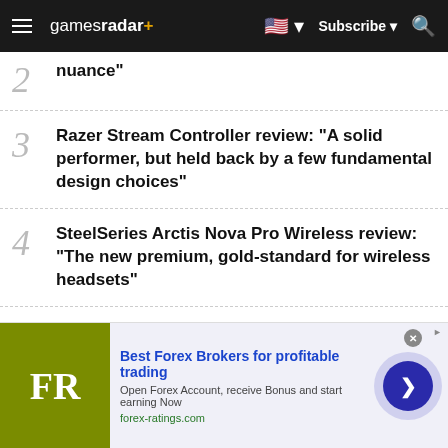gamesradar+ | Subscribe
2 nuance"
3 Razer Stream Controller review: "A solid performer, but held back by a few fundamental design choices"
4 SteelSeries Arctis Nova Pro Wireless review: "The new premium, gold-standard for wireless headsets"
5 Hori Fighting Commander Octa review: "Not quite a flawless victory"
[Figure (screenshot): Advertisement banner for forex-ratings.com — Best Forex Brokers for profitable trading. Open Forex Account, receive Bonus and start earning Now. forex-ratings.com. Shows FR logo in olive/yellow-green box on the left and a circular arrow button on the right.]